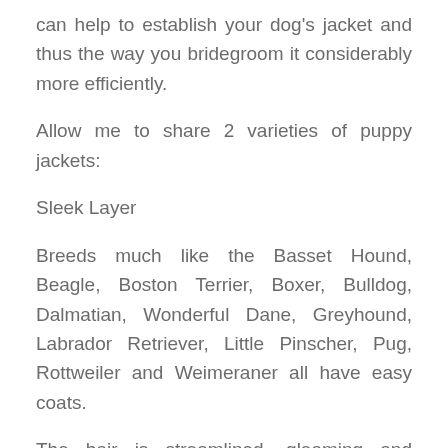can help to establish your dog's jacket and thus the way you bridegroom it considerably more efficiently.
Allow me to share 2 varieties of puppy jackets:
Sleek Layer
Breeds much like the Basset Hound, Beagle, Boston Terrier, Boxer, Bulldog, Dalmatian, Wonderful Dane, Greyhound, Labrador Retriever, Little Pinscher, Pug, Rottweiler and Weimeraner all have easy coats.
The hair is streamlined, gleaming and extremely quick for the most part and therefore do not